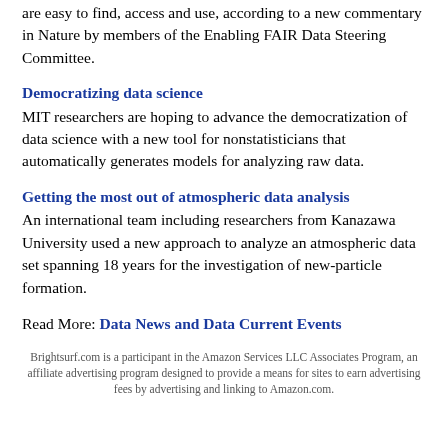are easy to find, access and use, according to a new commentary in Nature by members of the Enabling FAIR Data Steering Committee.
Democratizing data science
MIT researchers are hoping to advance the democratization of data science with a new tool for nonstatisticians that automatically generates models for analyzing raw data.
Getting the most out of atmospheric data analysis
An international team including researchers from Kanazawa University used a new approach to analyze an atmospheric data set spanning 18 years for the investigation of new-particle formation.
Read More: Data News and Data Current Events
Brightsurf.com is a participant in the Amazon Services LLC Associates Program, an affiliate advertising program designed to provide a means for sites to earn advertising fees by advertising and linking to Amazon.com.